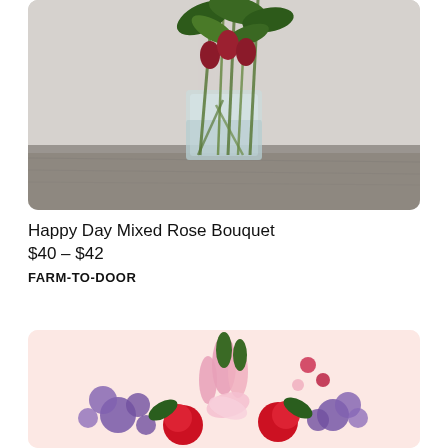[Figure (photo): Photo of Happy Day Mixed Rose Bouquet: long-stemmed roses with green leaves in a clear glass vase with water, placed on a gray wooden surface against a light gray background.]
Happy Day Mixed Rose Bouquet
$40 – $42
FARM-TO-DOOR
[Figure (photo): Photo of a colorful mixed flower arrangement with red roses, pink lilies, and purple statice flowers against a soft pink background.]